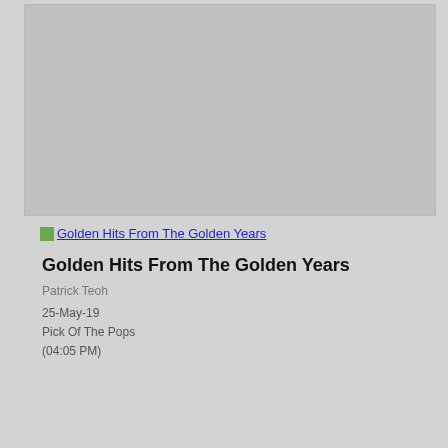[Figure (photo): Gray placeholder image area at top of page]
[Figure (illustration): Small green thumbnail icon next to linked text 'Golden Hits From The Golden Years']
Golden Hits From The Golden Years
Patrick Teoh
25-May-19
Pick Of The Pops
(04:05 PM)